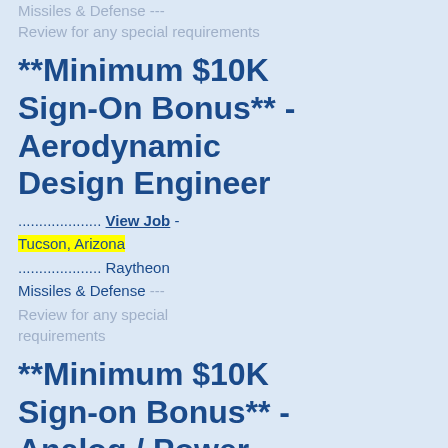Missiles & Defense --- Review for any special requirements
**Minimum $10K Sign-On Bonus** - Aerodynamic Design Engineer
.................... View Job - Tucson, Arizona .................... Raytheon Missiles & Defense --- Review for any special requirements
**Minimum $10K Sign-on Bonus** - Analog / Power